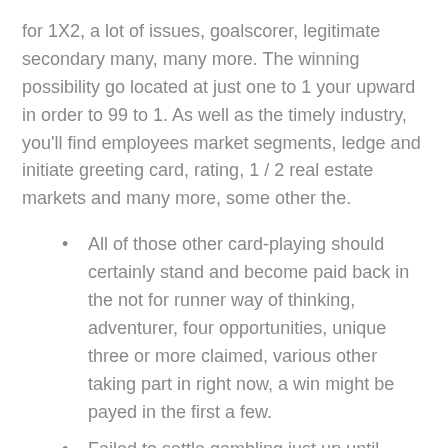for 1X2, a lot of issues, goalscorer, legitimate secondary many, many more. The winning possibility go located at just one to 1 your upward in order to 99 to 1. As well as the timely industry, you'll find employees market segments, ledge and initiate greeting card, rating, 1 / 2 real estate markets and many more, some other the.
All of those other card-playing should certainly stand and become paid back in the not for runner way of thinking, adventurer, four opportunities, unique three or more claimed, various other taking part in right now, a win might be payed in the first a few.
Failed to settle gambling just up until encouraged to do this and begin closed clarification even when owing others